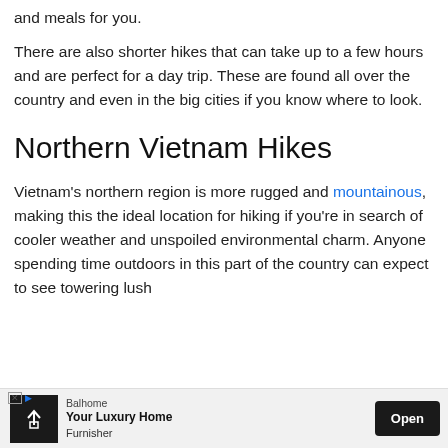and meals for you.
There are also shorter hikes that can take up to a few hours and are perfect for a day trip. These are found all over the country and even in the big cities if you know where to look.
Northern Vietnam Hikes
Vietnam's northern region is more rugged and mountainous, making this the ideal location for hiking if you're in search of cooler weather and unspoiled environmental charm. Anyone spending time outdoors in this part of the country can expect to see towering lush m... in...
[Figure (other): Advertisement banner for Balhome - Your Luxury Home Furnisher with Open button]